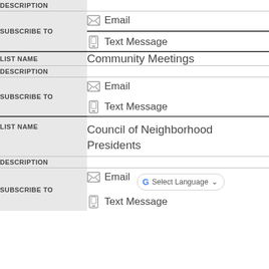| Field | Value |
| --- | --- |
| DESCRIPTION |  |
| SUBSCRIBE TO | Email / Text Message |
| LIST NAME | Community Meetings |
| DESCRIPTION |  |
| SUBSCRIBE TO | Email / Text Message |
| LIST NAME | Council of Neighborhood Presidents |
| DESCRIPTION |  |
| SUBSCRIBE TO | Email / Text Message |